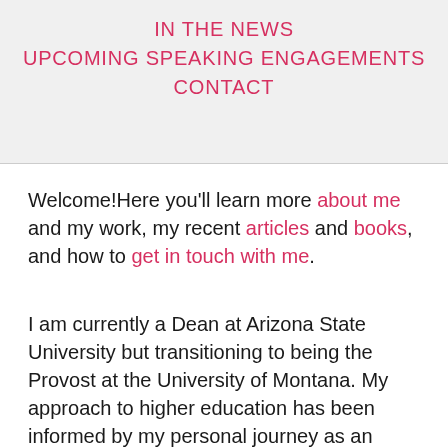IN THE NEWS
UPCOMING SPEAKING ENGAGEMENTS
CONTACT
Welcome!Here you'll learn more about me and my work, my recent articles and books, and how to get in touch with me.
I am currently a Dean at Arizona State University but transitioning to being the Provost at the University of Montana. My approach to higher education has been informed by my personal journey as an Iranian-American woman growing up in the U.S., as well as my doctoral...